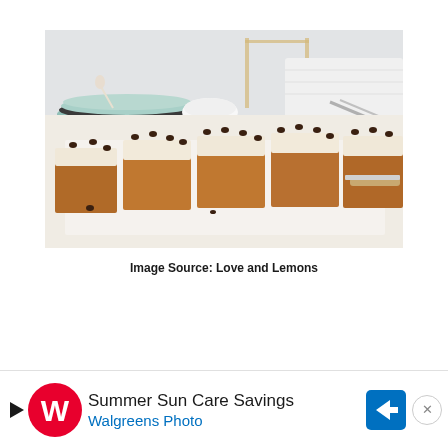[Figure (photo): Photo of pumpkin cake bars with cream cheese frosting and chocolate chips on a white marble surface, with teal plates, a white bowl, and a whisk in the background. Kitchen setting with light gray walls.]
Image Source: Love and Lemons
[Figure (other): Walgreens advertisement banner: 'Summer Sun Care Savings / Walgreens Photo' with Walgreens W logo, a blue directional arrow badge, play icon, and close (X) button.]